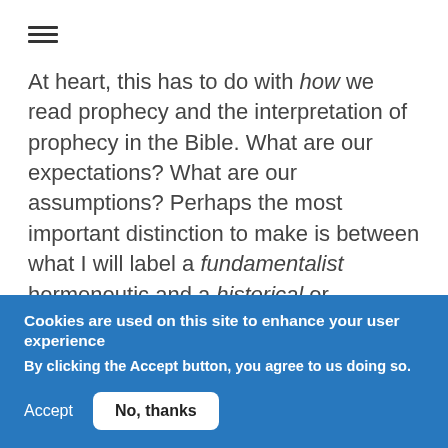[Figure (other): Hamburger menu icon (three horizontal lines)]
At heart, this has to do with how we read prophecy and the interpretation of prophecy in the Bible. What are our expectations? What are our assumptions? Perhaps the most important distinction to make is between what I will label a fundamentalist hermeneutic and a historical or narrative-historical hermeneutic.
The fundamentalist approach treats prophecy as infallible divine pronouncement which must find exact fulfilment, either
Cookies are used on this site to enhance your user experience
By clicking the Accept button, you agree to us doing so.
Accept
No, thanks